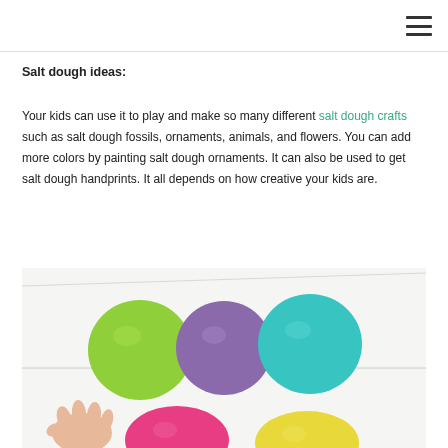Salt dough ideas:
Your kids can use it to play and make so many different salt dough crafts such as salt dough fossils, ornaments, animals, and flowers. You can add more colors by painting salt dough ornaments. It can also be used to get salt dough handprints. It all depends on how creative your kids are.
[Figure (photo): Colored dough balls (green, purple, teal) on a white surface with a child's hand and pink and yellow dough balls visible below]